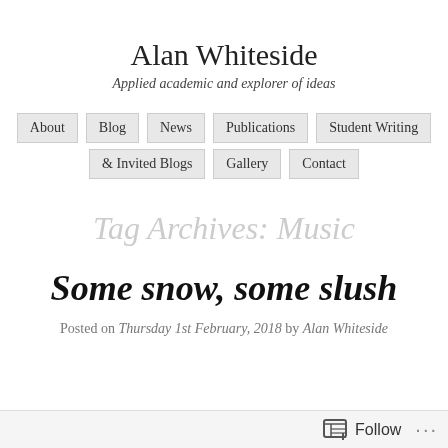Alan Whiteside
Applied academic and explorer of ideas
About  Blog  News  Publications  Student Writing & Invited Blogs  Gallery  Contact
Tag Archives: Music
Some snow, some slush
Posted on Thursday 1st February, 2018 by Alan Whiteside
Follow ...